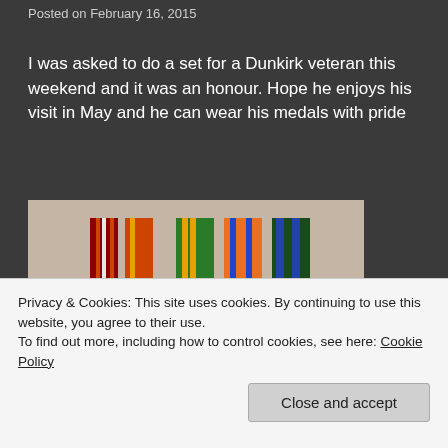Posted on February 16, 2015
I was asked to do a set for a Dunkirk veteran this weekend and it was an honour. Hope he enjoys his visit in May and he can wear his medals with pride
[Figure (photo): A row of military medals mounted on ribbons, including star-shaped medals and circular campaign medals, displayed on a light background.]
Privacy & Cookies: This site uses cookies. By continuing to use this website, you agree to their use.
To find out more, including how to control cookies, see here: Cookie Policy
Close and accept